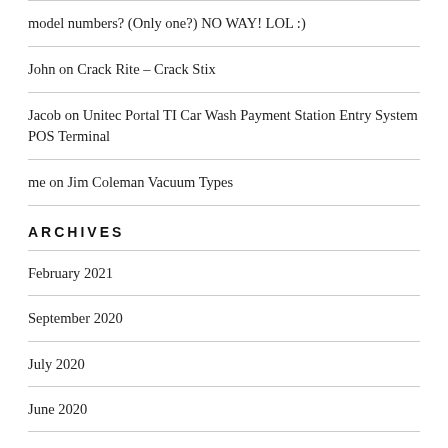model numbers? (Only one?) NO WAY! LOL :)
John on Crack Rite – Crack Stix
Jacob on Unitec Portal TI Car Wash Payment Station Entry System POS Terminal
me on Jim Coleman Vacuum Types
ARCHIVES
February 2021
September 2020
July 2020
June 2020
February 2019